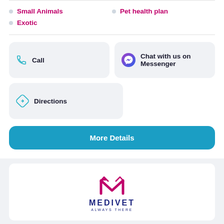Small Animals
Pet health plan
Exotic
Call
Chat with us on Messenger
Directions
More Details
[Figure (logo): Medivet Always There logo — red M lettermark above navy MEDIVET text with tagline ALWAYS THERE]